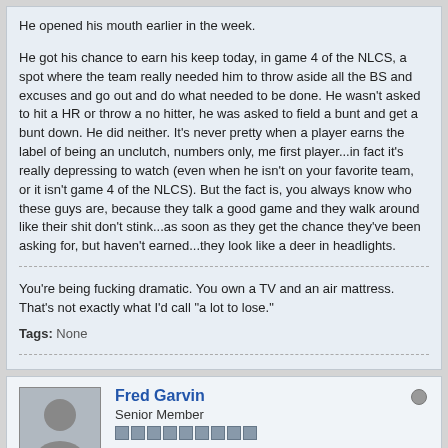He opened his mouth earlier in the week.
He got his chance to earn his keep today, in game 4 of the NLCS, a spot where the team really needed him to throw aside all the BS and excuses and go out and do what needed to be done. He wasn't asked to hit a HR or throw a no hitter, he was asked to field a bunt and get a bunt down. He did neither. It's never pretty when a player earns the label of being an unclutch, numbers only, me first player...in fact it's really depressing to watch (even when he isn't on your favorite team, or it isn't game 4 of the NLCS). But the fact is, you always know who these guys are, because they talk a good game and they walk around like their shit don't stink...as soon as they get the chance they've been asking for, but haven't earned...they look like a deer in headlights.
You're being fucking dramatic. You own a TV and an air mattress. That's not exactly what I'd call "a lot to lose."
Tags: None
Fred Garvin
Senior Member
Join Date: Feb 2004   Posts: 6560